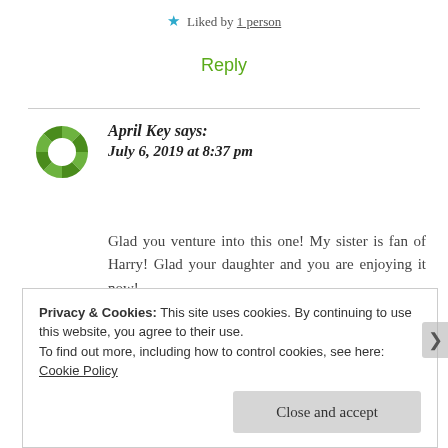★ Liked by 1 person
Reply
April Key says:
July 6, 2019 at 8:37 pm
Glad you venture into this one! My sister is fan of Harry! Glad your daughter and you are enjoying it now!
Privacy & Cookies: This site uses cookies. By continuing to use this website, you agree to their use.
To find out more, including how to control cookies, see here: Cookie Policy